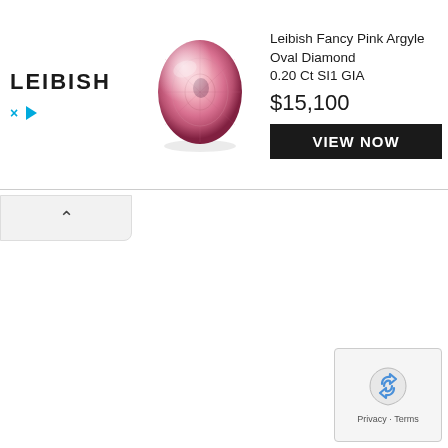[Figure (screenshot): Advertisement banner for Leibish Fancy Pink Argyle Oval Diamond. Contains LEIBISH logo on left, pink oval diamond image in center, product title 'Leibish Fancy Pink Argyle Oval Diamond 0.20 Ct SI1 GIA', price '$15,100', and a 'VIEW NOW' button with black background. Below the ad is a collapse/close arrow bar. Bottom right shows a privacy/reCAPTCHA badge with 'Privacy · Terms' text.]